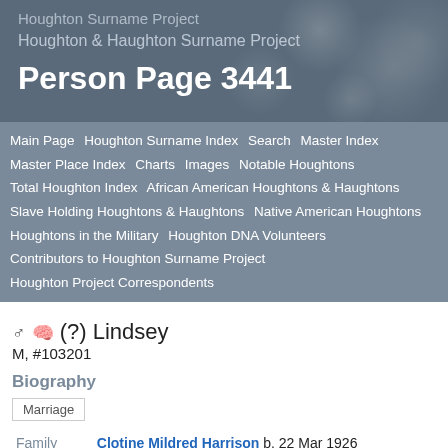Houghton Surname Project
Houghton & Haughton Surname Project
Person Page 3441
Main Page  Houghton Surname Index  Search  Master Index  Master Place Index  Charts  Images  Notable Houghtons  Total Houghton Index  African American Houghtons & Haughtons  Slave Holding Houghtons & Haughtons  Native American Houghtons  Houghtons in the Military  Houghton DNA Volunteers  Contributors to Houghton Surname Project  Houghton Project Correspondents
(?) Lindsey M, #103201
Biography
Marriage
|  |  |
| --- | --- |
| Family | Clotine Mildred Harrison b. 22 Mar 1926 |
| Marriage | (?) Lindsey married Clotine Mildred |